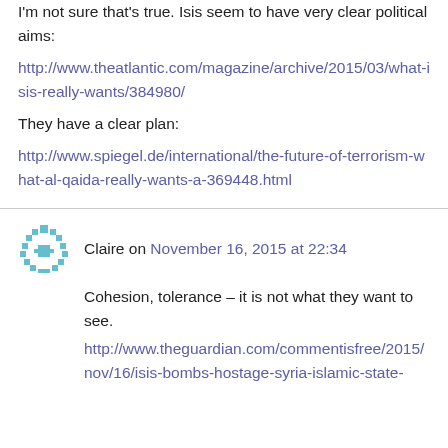I'm not sure that's true. Isis seem to have very clear political aims:
http://www.theatlantic.com/magazine/archive/2015/03/what-isis-really-wants/384980/
They have a clear plan:
http://www.spiegel.de/international/the-future-of-terrorism-what-al-qaida-really-wants-a-369448.html
Claire on November 16, 2015 at 22:34
Cohesion, tolerance – it is not what they want to see.
http://www.theguardian.com/commentisfree/2015/nov/16/isis-bombs-hostage-syria-islamic-state-